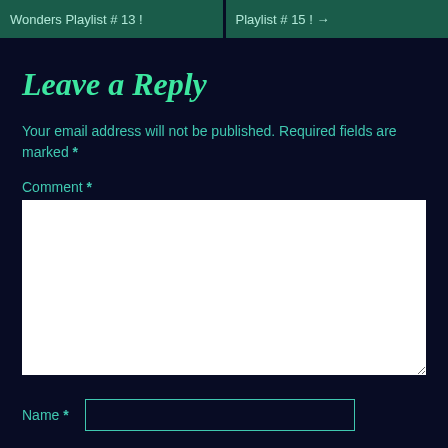Wonders Playlist # 13 !    Playlist # 15 ! →
Leave a Reply
Your email address will not be published. Required fields are marked *
Comment *
[Figure (screenshot): Comment text area input box (white, empty)]
Name *